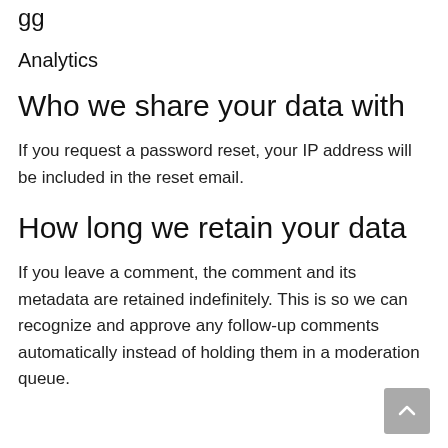gg
Analytics
Who we share your data with
If you request a password reset, your IP address will be included in the reset email.
How long we retain your data
If you leave a comment, the comment and its metadata are retained indefinitely. This is so we can recognize and approve any follow-up comments automatically instead of holding them in a moderation queue.